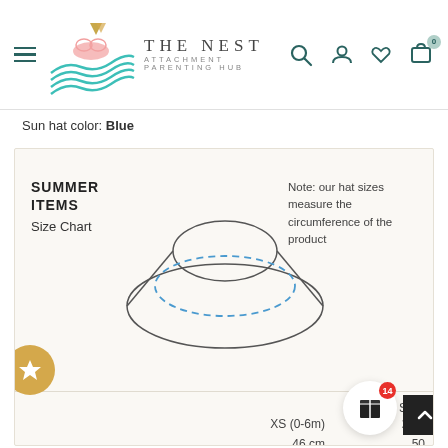THE NEST ATTACHMENT PARENTING HUB
Sun hat color: Blue
SUMMER ITEMS Size Chart
[Figure (illustration): Line drawing diagram of a sun hat shown from above, with an outer wide-brim ellipse, an inner crown ellipse drawn with solid lines, and a middle dashed-blue ellipse indicating the interior circumference measurement area.]
Note: our hat sizes measure the circumference of the product
Reversible Patterned Sun Hat
XS (0-6m)
S (0-24m)
46 cm
18.1"
50
19.6
EGGS